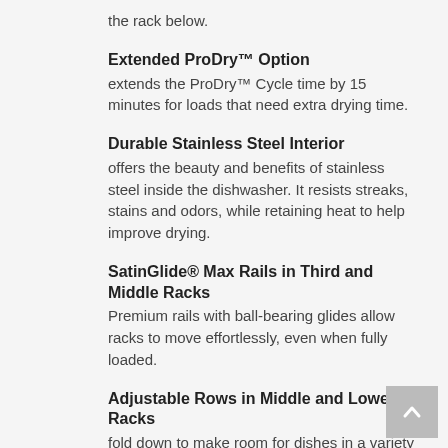the rack below.
Extended ProDry™ Option
extends the ProDry™ Cycle time by 15 minutes for loads that need extra drying time.
Durable Stainless Steel Interior
offers the beauty and benefits of stainless steel inside the dishwasher. It resists streaks, stains and odors, while retaining heat to help improve drying.
SatinGlide® Max Rails in Third and Middle Racks
Premium rails with ball-bearing glides allow racks to move effortlessly, even when fully loaded.
Adjustable Rows in Middle and Lower Racks
fold down to make room for dishes in a variety of shapes and sizes like roasting pans, serving bowls, colanders and dutch ovens.
44 dBA
provides quiet cleaning without compromising performance, so there s no need to wait to run a wash cycle while entertaining and enjoying meals, even in open